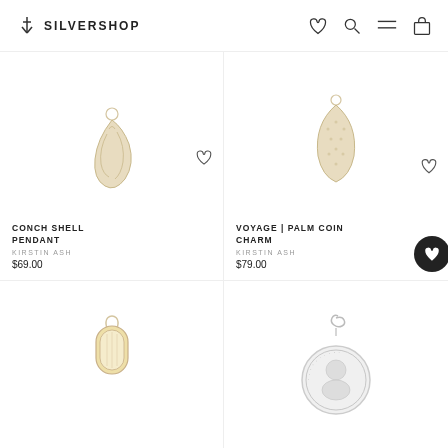SILVERSHOP
[Figure (photo): Conch shell pendant jewelry charm, gold/cream colored, on white background]
CONCH SHELL PENDANT
KIRSTIN ASH
$69.00
[Figure (photo): Voyage Palm Coin Charm, leaf-shaped gold pendant on white background]
VOYAGE | PALM COIN CHARM
KIRSTIN ASH
$79.00
[Figure (photo): Arch shaped gold pendant charm on white background]
[Figure (photo): Round silver coin charm with lobster clasp and portrait engraving on white background]